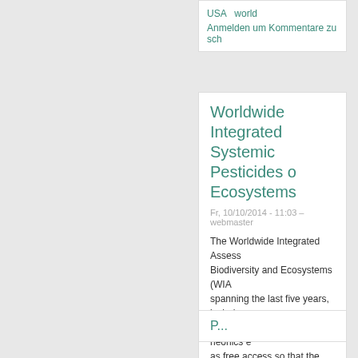USA   world
Anmelden um Kommentare zu sch
Worldwide Integrated Systemic Pesticides c Ecosystems
Fr, 10/10/2014 - 11:03 – webmaster
The Worldwide Integrated Assess Biodiversity and Ecosystems (WIA spanning the last five years, includ comprehensive study of neonics e as free access so that the findings examined by others.
acetamiprid   Clothianidin   Di thiacloprid   thiamethoxam
Anmelden um Kommentare zu sch
P...